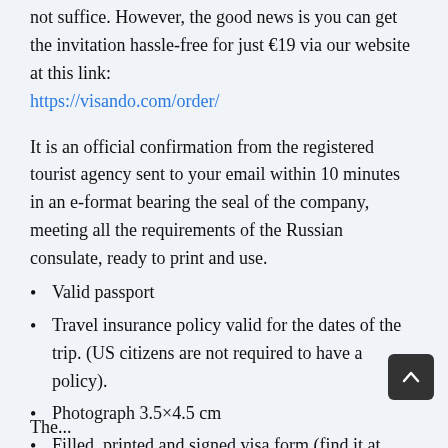not suffice. However, the good news is you can get the invitation hassle-free for just €19 via our website at this link: https://visando.com/order/
It is an official confirmation from the registered tourist agency sent to your email within 10 minutes in an e-format bearing the seal of the company, meeting all the requirements of the Russian consulate, ready to print and use.
Valid passport
Travel insurance policy valid for the dates of the trip. (US citizens are not required to have a policy).
Photograph 3.5×4.5 cm
Filled, printed and signed visa form (find it at https://visa.kdmid.ru/)
The...